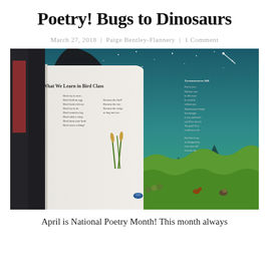Poetry! Bugs to Dinosaurs
March 27, 2018  |  Paige Bentley-Flannery  |  1 Comment
[Figure (photo): Open children's book showing illustrated pages with poems about birds and dinosaurs. Left page shows 'What We Learn in Bird Class' poem with illustrated bugs and birds on a green field. Right page shows a dark dinosaur illustration against a teal night sky with stars, and a poem on the right side.]
April is National Poetry Month! This month always